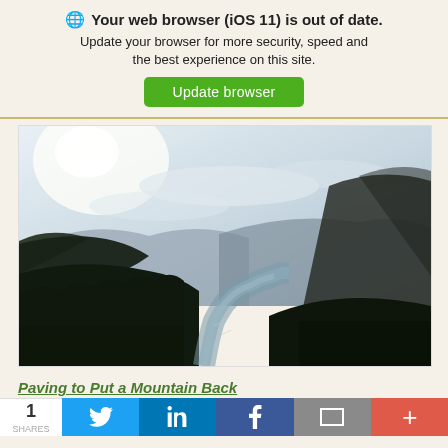🌐 Your web browser (iOS 11) is out of date. Update your browser for more security, speed and the best experience on this site. [Update browser]
[Figure (photo): River valley landscape photo showing a winding river flanked by dark forested hills and mountains under a pale hazy sky with sun glare in the upper left.]
Paving to Put a Mountain Back
1 SHARES [Twitter] [LinkedIn] [Facebook] [Email] [+]